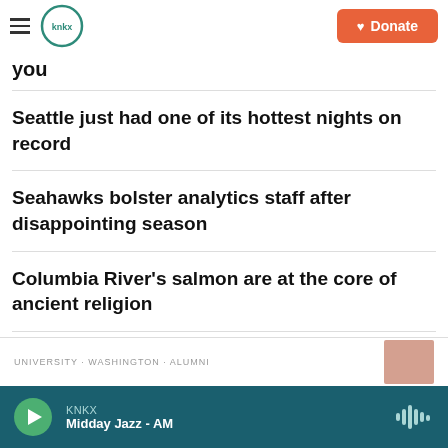KNKX | Donate
you
Seattle just had one of its hottest nights on record
Seahawks bolster analytics staff after disappointing season
Columbia River's salmon are at the core of ancient religion
KNKX Midday Jazz - AM